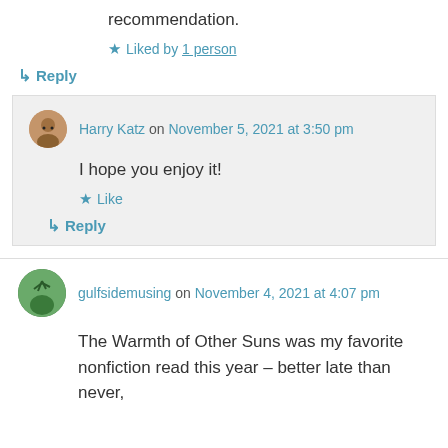recommendation.
★ Liked by 1 person
↳ Reply
Harry Katz on November 5, 2021 at 3:50 pm
I hope you enjoy it!
★ Like
↳ Reply
gulfsidemusing on November 4, 2021 at 4:07 pm
The Warmth of Other Suns was my favorite nonfiction read this year – better late than never,